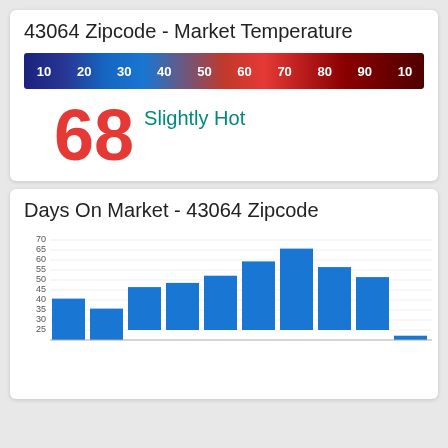43064 Zipcode - Market Temperature
[Figure (infographic): Gradient temperature bar from blue (cool/10) to dark red (hot/100) with labels 10,20,30,40,50,60,70,80,90,100]
68
Slightly Hot
Days On Market - 43064 Zipcode
[Figure (bar-chart): Days On Market - 43064 Zipcode]